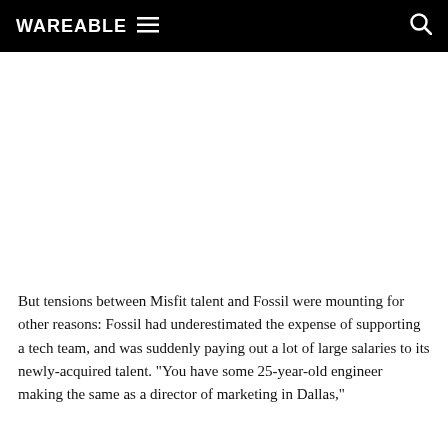WAREABLE
But tensions between Misfit talent and Fossil were mounting for other reasons: Fossil had underestimated the expense of supporting a tech team, and was suddenly paying out a lot of large salaries to its newly-acquired talent. "You have some 25-year-old engineer making the same as a director of marketing in Dallas,"